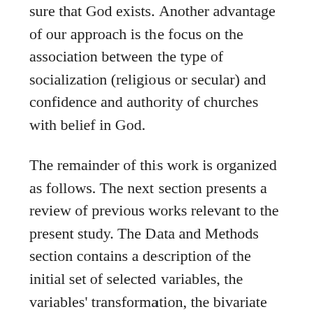sure that God exists. Another advantage of our approach is the focus on the association between the type of socialization (religious or secular) and confidence and authority of churches with belief in God.
The remainder of this work is organized as follows. The next section presents a review of previous works relevant to the present study. The Data and Methods section contains a description of the initial set of selected variables, the variables' transformation, the bivariate analyses of their association with the response variable, and the methods we used for presenting the results of the multinomial logistic regression. The next three sections contain the description of the results, the discussion, and the